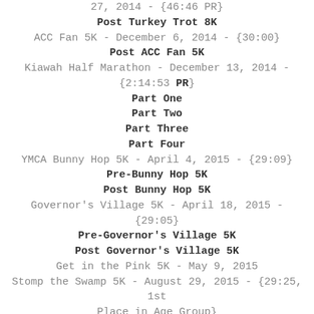27, 2014 - {46:46 PR}
Post Turkey Trot 8K
ACC Fan 5K - December 6, 2014 - {30:00}
Post ACC Fan 5K
Kiawah Half Marathon - December 13, 2014 - {2:14:53 PR}
Part One
Part Two
Part Three
Part Four
YMCA Bunny Hop 5K - April 4, 2015 - {29:09}
Pre-Bunny Hop 5K
Post Bunny Hop 5K
Governor's Village 5K - April 18, 2015 - {29:05}
Pre-Governor's Village 5K
Post Governor's Village 5K
Get in the Pink 5K - May 9, 2015
Stomp the Swamp 5K - August 29, 2015 - {29:25, 1st Place in Age Group}